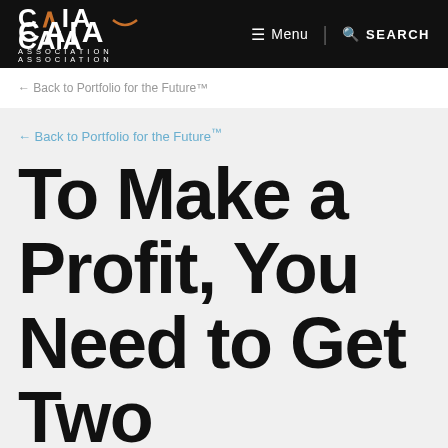CAIA ASSOCIATION — Menu | SEARCH
← Back to Portfolio for the Future™
To Make a Profit, You Need to Get Two Decisions…